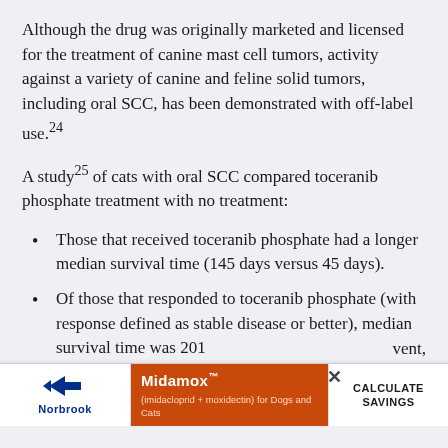Although the drug was originally marketed and licensed for the treatment of canine mast cell tumors, activity against a variety of canine and feline solid tumors, including oral SCC, has been demonstrated with off-label use.24
A study25 of cats with oral SCC compared toceranib phosphate treatment with no treatment:
Those that received toceranib phosphate had a longer median survival time (145 days versus 45 days).
Of those that responded to toceranib phosphate (with response defined as stable disease or better), median survival time was 201 d...
A ... vent,
[Figure (other): Norbrook Midamox advertisement banner with orange background, showing Norbrook logo, Midamox product name with tagline (imidacloprid + moxidectin) for Dogs and Cats, and Calculate Savings call to action button. Partially overlaid on document content.]